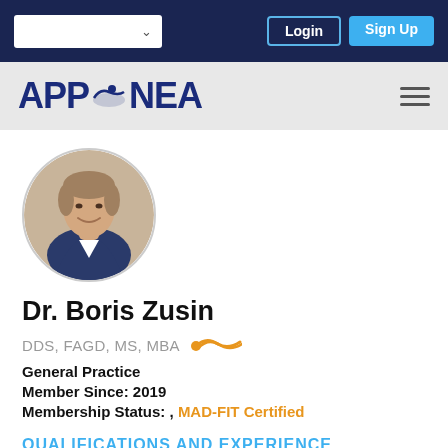Login  Sign Up
[Figure (logo): APP-NEA logo with stylized swimmer icon]
[Figure (photo): Circular profile photo of Dr. Boris Zusin, a middle-aged man in a suit, smiling]
Dr. Boris Zusin
DDS, FAGD, MS, MBA
General Practice
Member Since: 2019
Membership Status: , MAD-FIT Certified
QUALIFICATIONS AND EXPERIENCE